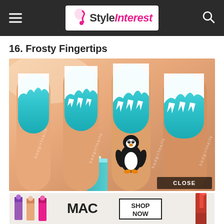StyleInterest
16. Frosty Fingertips
[Figure (photo): Close-up photo of fingernails painted with a winter/frosty nail art design. Nails feature turquoise/teal glitter polish with white snow-capped icicle designs at the tips. One nail has a small cartoon penguin painted on it. The watermark 'badgirlnails' appears on multiple nails. A 'CLOSE' button overlay appears in the bottom-right corner of the image.]
[Figure (photo): MAC Cosmetics advertisement banner at the bottom showing colorful lipsticks (purple, peach, pink) on the left, the MAC logo in the center, and a 'SHOP NOW' button box. A red lipstick is partially visible on the right edge.]